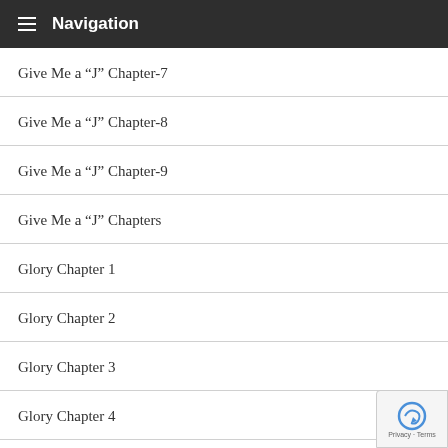Navigation
Give Me a “J” Chapter-7
Give Me a “J” Chapter-8
Give Me a “J” Chapter-9
Give Me a “J” Chapters
Glory Chapter 1
Glory Chapter 2
Glory Chapter 3
Glory Chapter 4
Glory Chapter 5